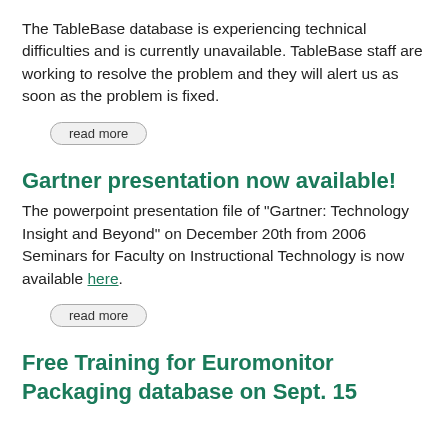The TableBase database is experiencing technical difficulties and is currently unavailable. TableBase staff are working to resolve the problem and they will alert us as soon as the problem is fixed.
read more
Gartner presentation now available!
The powerpoint presentation file of "Gartner: Technology Insight and Beyond" on December 20th from 2006 Seminars for Faculty on Instructional Technology is now available here.
read more
Free Training for Euromonitor Packaging database on Sept. 15